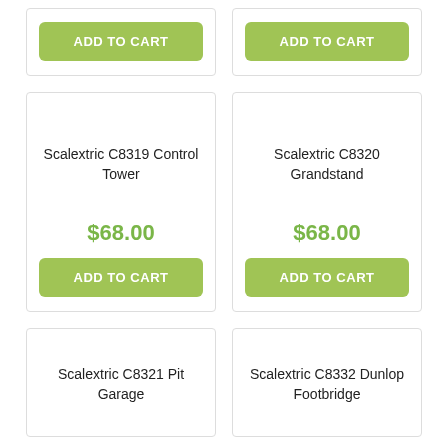ADD TO CART (top-left partial card)
ADD TO CART (top-right partial card)
Scalextric C8319 Control Tower
$68.00
ADD TO CART
Scalextric C8320 Grandstand
$68.00
ADD TO CART
Scalextric C8321 Pit Garage
Scalextric C8332 Dunlop Footbridge